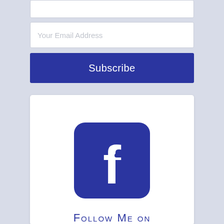[Figure (screenshot): Email subscription widget with a text input field showing 'Your Email Address' placeholder and a blue Subscribe button]
[Figure (illustration): Facebook follow widget with Facebook 'f' logo icon and text 'FOLLOW ME ON FACEBOOK']